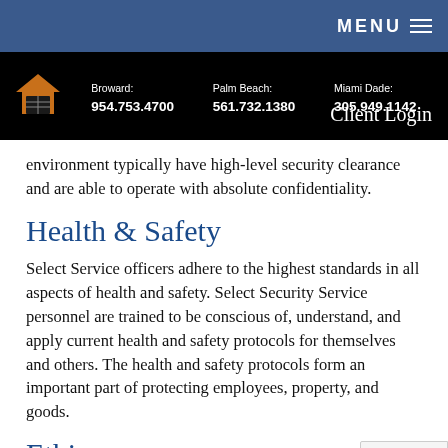MENU
Broward: 954.753.4700  Palm Beach: 561.732.1380  Miami Dade: 305.949.1142  Client Login
environment typically have high-level security clearance and are able to operate with absolute confidentiality.
Health & Safety
Select Service officers adhere to the highest standards in all aspects of health and safety. Select Security Service personnel are trained to be conscious of, understand, and apply current health and safety protocols for themselves and others. The health and safety protocols form an important part of protecting employees, property, and goods.
Ethics
Select Service officers also receive training in ethics, which